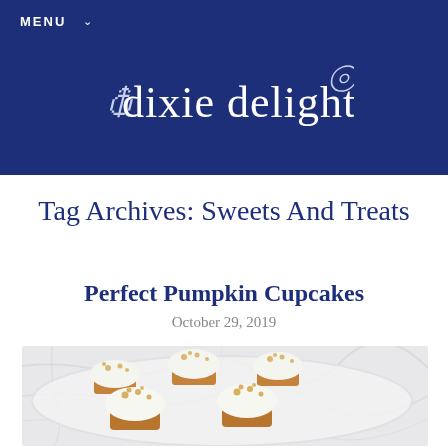MENU
dixie delights
Tag Archives: Sweets And Treats
Perfect Pumpkin Cupcakes
October 29, 2019
[Figure (photo): Pumpkin cupcakes with white cream cheese frosting topped with small golden biscuit pieces, arranged on a white plate with marble background]